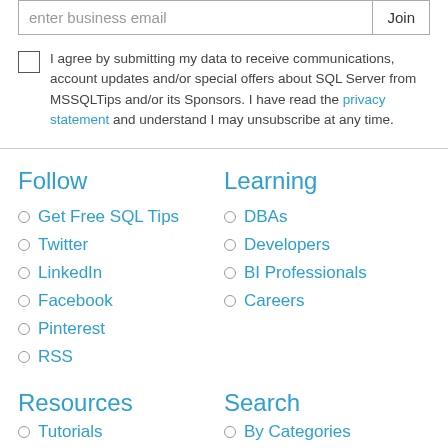[Figure (other): Email input field with placeholder 'enter business email' and a 'Join' button]
I agree by submitting my data to receive communications, account updates and/or special offers about SQL Server from MSSQLTips and/or its Sponsors. I have read the privacy statement and understand I may unsubscribe at any time.
Follow
Get Free SQL Tips
Twitter
LinkedIn
Facebook
Pinterest
RSS
Learning
DBAs
Developers
BI Professionals
Careers
Resources
Search